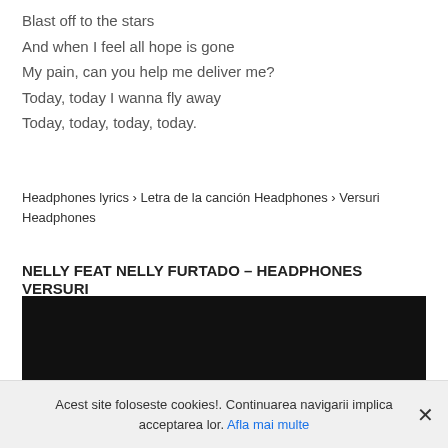Blast off to the stars
And when I feel all hope is gone
My pain, can you help me deliver me?
Today, today I wanna fly away
Today, today, today, today.
Headphones lyrics › Letra de la canción Headphones › Versuri Headphones
NELLY FEAT NELLY FURTADO – HEADPHONES VERSURI
[Figure (other): Dark/black video embed placeholder]
Acest site foloseste cookies!. Continuarea navigarii implica acceptarea lor. Afla mai multe